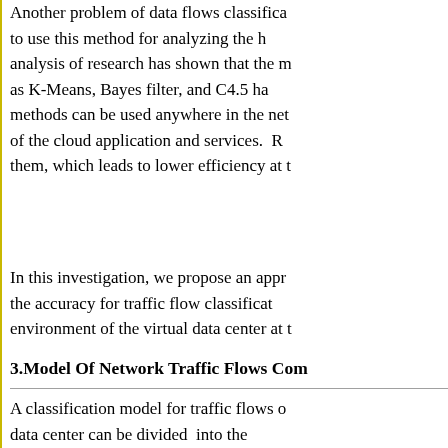Another problem of data flows classifica... to use this method for analyzing the h... analysis of research has shown that the m... as K-Means, Bayes filter, and C4.5 ha... methods can be used anywhere in the net... of the cloud application and services. R... them, which leads to lower efficiency at t...
In this investigation, we propose an appr... the accuracy for traffic flow classificat... environment of the virtual data center at t...
3.Model Of Network Traffic Flows Com...
A classification model for traffic flows o... data center can be divided into the... identification of association rules. Let's o...
For the effective classification of traffic f... set of all applications. Suppose that we b... Each cloud application and service is cha... attributes, whose values represent charact...